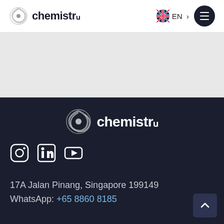chemistry — EN > [menu]
[Figure (screenshot): Grey banner area with white tab at top-left and curved bottom-right corner]
[Figure (logo): Chemistry logo (swirl graphic + 'chemistry' text) on dark background]
[Figure (infographic): Social media icons: Instagram, LinkedIn, YouTube on dark background]
17A Jalan Pinang, Singapore 199149
WhatsApp: +65 8860 8185